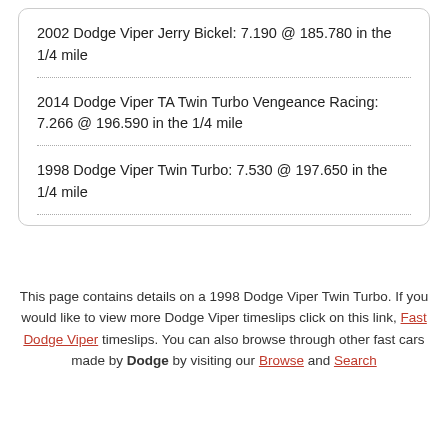2002 Dodge Viper Jerry Bickel: 7.190 @ 185.780 in the 1/4 mile
2014 Dodge Viper TA Twin Turbo Vengeance Racing: 7.266 @ 196.590 in the 1/4 mile
1998 Dodge Viper Twin Turbo: 7.530 @ 197.650 in the 1/4 mile
This page contains details on a 1998 Dodge Viper Twin Turbo. If you would like to view more Dodge Viper timeslips click on this link, Fast Dodge Viper timeslips. You can also browse through other fast cars made by Dodge by visiting our Browse and Search